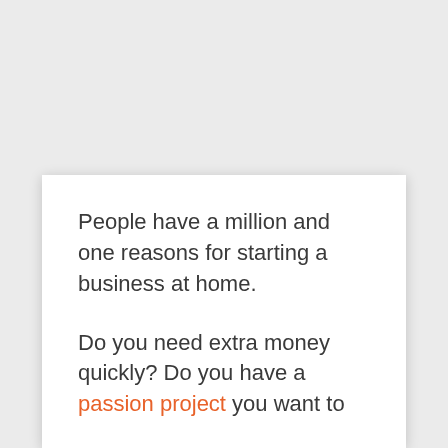People have a million and one reasons for starting a business at home.

Do you need extra money quickly? Do you have a passion project you want to